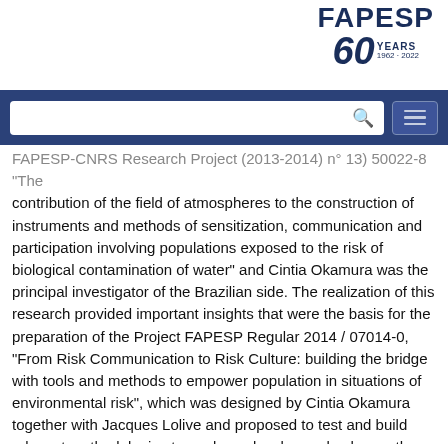FAPESP 60 YEARS 1962-2022
[Figure (logo): FAPESP 60 Years logo (1962-2022) in navy blue, top right corner]
FAPESP-CNRS Research Project (2013-2014) n° 13) 50022-8 "The contribution of the field of atmospheres to the construction of instruments and methods of sensitization, communication and participation involving populations exposed to the risk of biological contamination of water" and Cintia Okamura was the principal investigator of the Brazilian side. The realization of this research provided important insights that were the basis for the preparation of the Project FAPESP Regular 2014 / 07014-0, "From Risk Communication to Risk Culture: building the bridge with tools and methods to empower population in situations of environmental risk", which was designed by Cintia Okamura together with Jacques Lolive and proposed to test and build relevant methodologies to analyze, develop and enhance the experience of the exposed population to contribute to the development of a culture of risk. Jacques Lolive has played a fundamental role in the definition and implementation of the Diagnosis and of the Participatory Forums that constituted the main stages of the research. The results of this research allowed the elaboration of the first version of...